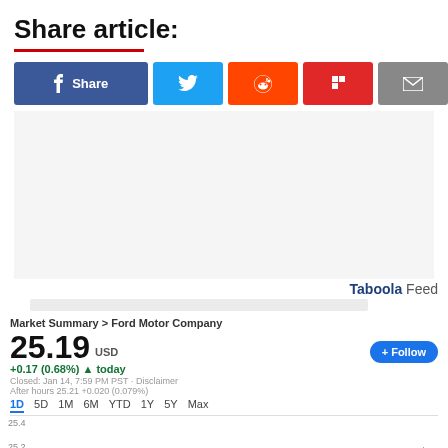Share article:
[Figure (infographic): Social share buttons: Facebook Share, Twitter, Reddit, Flipboard, Email]
[Figure (infographic): Taboola Feed branding label]
Market Summary > Ford Motor Company
25.19 USD
+0.17 (0.68%) ▲ today
Closed: Jan 14, 7:59 PM PST · Disclaimer
After hours 25.21 +0.020 (0.079%)
[Figure (line-chart): Ford Motor Company 1D Stock Chart]